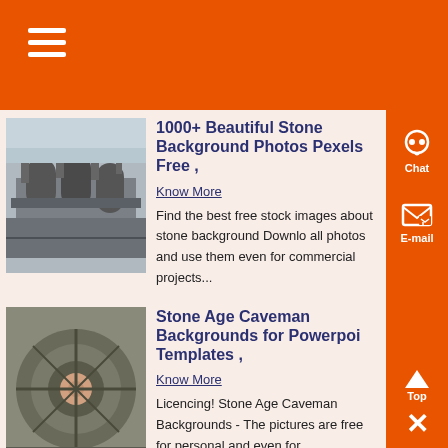1000+ Beautiful Stone Background Photos Pexels Free ,
Know More
Find the best free stock images about stone background Download all photos and use them even for commercial projects...
[Figure (photo): Industrial machinery with large cylindrical components and complex piping]
Stone Age Caveman Backgrounds for Powerpoint Templates ,
Know More
Licencing! Stone Age Caveman Backgrounds - The pictures are free for personal and even for
[Figure (photo): Close-up of a circular mechanical component, possibly a wheel hub or rotor]